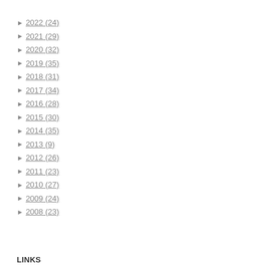► 2022 (24)
► 2021 (29)
► 2020 (32)
► 2019 (35)
► 2018 (31)
► 2017 (34)
► 2016 (28)
► 2015 (30)
► 2014 (35)
► 2013 (9)
► 2012 (26)
► 2011 (23)
► 2010 (27)
► 2009 (24)
► 2008 (23)
LINKS